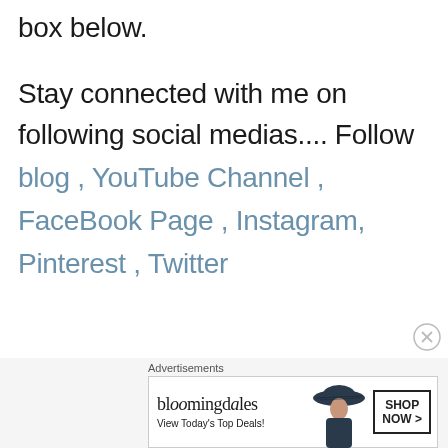box below.
Stay connected with me on following social medias.... Follow blog , YouTube Channel , FaceBook Page , Instagram, Pinterest , Twitter
[Figure (other): Bloomingdale's advertisement banner with woman in hat, 'View Today's Top Deals!' and 'SHOP NOW >' button]